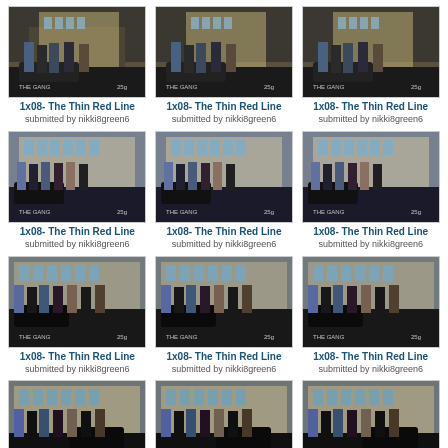[Figure (photo): TV show screenshot grid - 1x08 The Thin Red Line, 12 visible thumbnails plus 3 partial, each showing group of people outdoors near cars/building. Submitted by nikki8green6.]
1x08- The Thin Red Line
submitted by nikki8green6
1x08- The Thin Red Line
submitted by nikki8green6
1x08- The Thin Red Line
submitted by nikki8green6
1x08- The Thin Red Line
submitted by nikki8green6
1x08- The Thin Red Line
submitted by nikki8green6
1x08- The Thin Red Line
submitted by nikki8green6
1x08- The Thin Red Line
submitted by nikki8green6
1x08- The Thin Red Line
submitted by nikki8green6
1x08- The Thin Red Line
submitted by nikki8green6
1x08- The Thin Red Line
submitted by nikki8green6
1x08- The Thin Red Line
submitted by nikki8green6
1x08- The Thin Red Line
submitted by nikki8green6